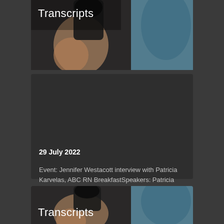[Figure (photo): Photo of a person holding a microphone, dark tones with teal background blur]
Transcripts
29 July 2022
Event: Jennifer Westacott interview with Patricia Karvelas, ABC RN BreakfastSpeakers: Patricia Karvelas host, RN Breakfast; Jennifer Westacott chief executive, Business Council of AustraliaTopics: Releasing the handbrakes on growth report; inflation; energy prices; labour shortages;...
Read more →
[Figure (photo): Photo of a person holding a microphone, dark tones with teal background blur]
Transcripts